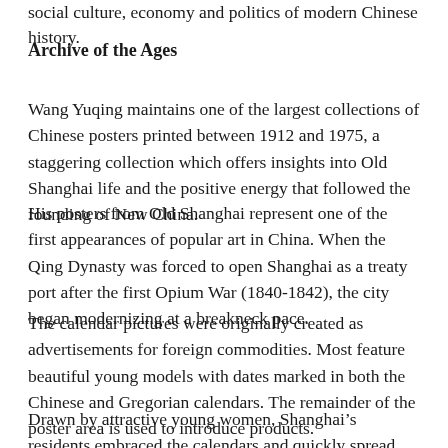social culture, economy and politics of modern Chinese history.
Archive of the Ages
Wang Yuqing maintains one of the largest collections of Chinese posters printed between 1912 and 1975, a staggering collection which offers insights into Old Shanghai life and the positive energy that followed the founding of New China.
His posters from Old Shanghai represent one of the first appearances of popular art in China. When the Qing Dynasty was forced to open Shanghai as a treaty port after the first Opium War (1840-1842), the city began modernizing at a breakneck pace.
The calendar pictures were originally created as advertisements for foreign commodities. Most feature beautiful young models with dates marked in both the Chinese and Gregorian calendars. The remainder of the poster area is used to introduce products.
Drawn by attractive young women, Shanghai’s residents embraced the calendars and quickly spread them to Chinese communities abroad.
The style, which depicts women with egg-white skin, was the